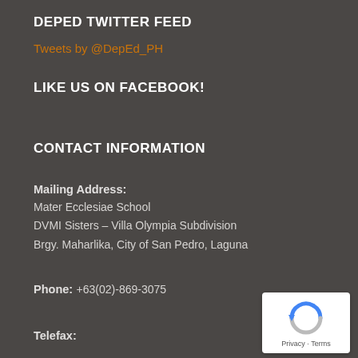DEPED TWITTER FEED
Tweets by @DepEd_PH
LIKE US ON FACEBOOK!
CONTACT INFORMATION
Mailing Address:
Mater Ecclesiae School
DVMI Sisters – Villa Olympia Subdivision
Brgy. Maharlika, City of San Pedro, Laguna
Phone:
+63(02)-869-3075
Telefax: